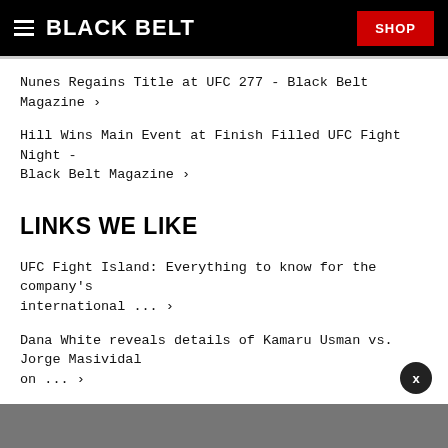BLACK BELT  SHOP
Nunes Regains Title at UFC 277 - Black Belt Magazine ›
Hill Wins Main Event at Finish Filled UFC Fight Night - Black Belt Magazine ›
LINKS WE LIKE
UFC Fight Island: Everything to know for the company's international ... ›
Dana White reveals details of Kamaru Usman vs. Jorge Masividal on ... ›
UFC Fight Island: Where is it located, when will it open and what ... ›